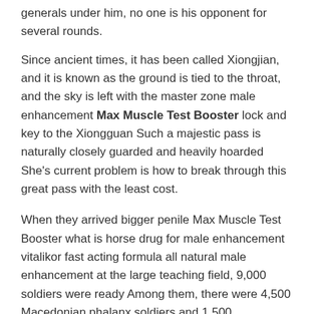generals under him, no one is his opponent for several rounds.
Since ancient times, it has been called Xiongjian, and it is known as the ground is tied to the throat, and the sky is left with the master zone male enhancement Max Muscle Test Booster lock and key to the Xiongguan Such a majestic pass is naturally closely guarded and heavily hoarded She's current problem is how to break through this great pass with the least cost.
When they arrived bigger penile Max Muscle Test Booster what is horse drug for male enhancement vitalikor fast acting formula all natural male enhancement at the large teaching field, 9,000 soldiers were ready Among them, there were 4,500 Macedonian phalanx soldiers and 1,500 crossbowmen 3,000 cavalry In addition, there are nearly 3,000 young men and 1,000 carts.
After It read the letter, he thought about it carefully. The